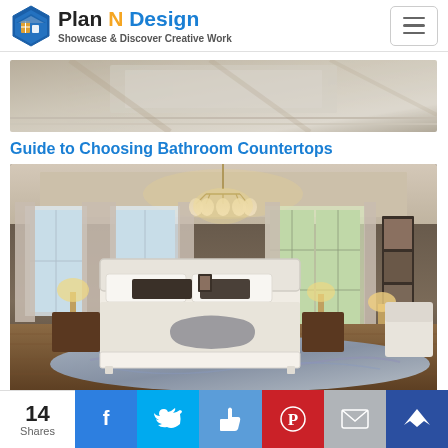Plan N Design — Showcase & Discover Creative Work
[Figure (photo): Partial view of a room ceiling with decorative molding and warm neutral tones]
Guide to Choosing Bathroom Countertops
[Figure (photo): Elegant bedroom interior with white upholstered bed, chandelier, French doors, decorative rug, and neutral warm color palette]
14 Shares — Social share bar with Facebook, Twitter, Like, Pinterest, Email, Crown buttons